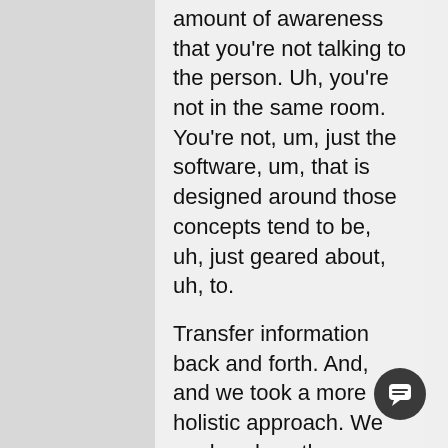amount of awareness that you're not talking to the person. Uh, you're not in the same room. You're not, um, just the software, um, that is designed around those concepts tend to be, uh, just geared about, uh, to.
Transfer information back and forth. And, and we took a more holistic approach. We analyze how the eye perceives what we look at when we're communicating. What kind of sounds are more familiar to us? Uh, what sounds more natural? What frames per second are more natural. These are all things that we borrowed from